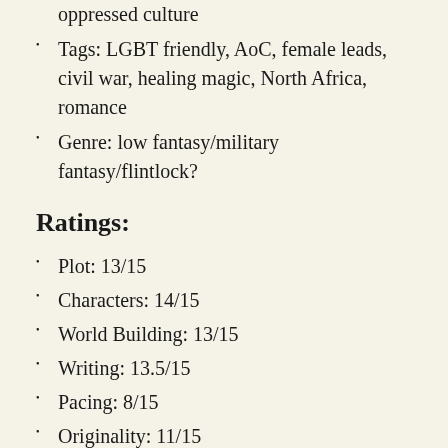oppressed culture
Tags: LGBT friendly, AoC, female leads, civil war, healing magic, North Africa, romance
Genre: low fantasy/military fantasy/flintlock?
Ratings:
Plot: 13/15
Characters: 14/15
World Building: 13/15
Writing: 13.5/15
Pacing: 8/15
Originality: 11/15
Personal Enjoyment: 8/10